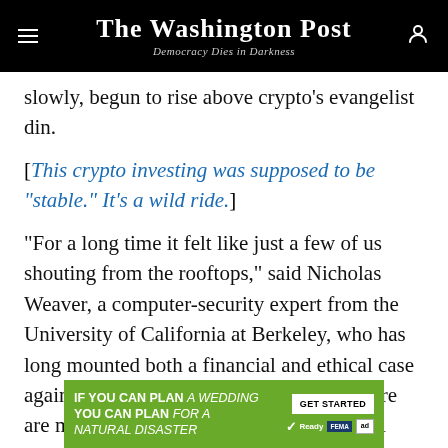The Washington Post — Democracy Dies in Darkness
slowly, begun to rise above crypto’s evangelist din.
[This crypto investing was supposed to be “stable.” It’s a wild ride.]
“For a long time it felt like just a few of us shouting from the rooftops,” said Nicholas Weaver, a computer-security expert from the University of California at Berkeley, who has long mounted both a financial and ethical case against crypto investment. “But I think there are more of us now, and hopefully that will help us be heard.”
[Figure (other): Advertisement banner: IF YOU CAN PLAN A WEDDING YOU CAN PLAN FOR A NATURAL DISASTER — Ready.gov / FEMA ad with GET STARTED button]